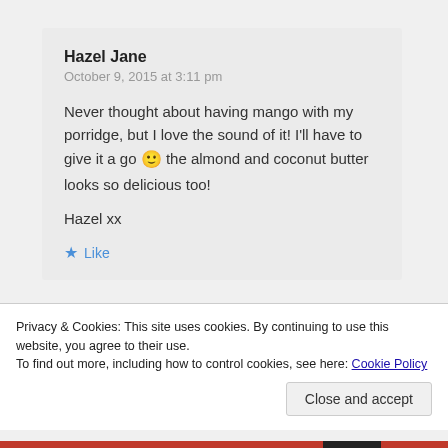Hazel Jane
October 9, 2015 at 3:11 pm
Never thought about having mango with my porridge, but I love the sound of it! I'll have to give it a go 🙂 the almond and coconut butter looks so delicious too!
Hazel xx
Like
Privacy & Cookies: This site uses cookies. By continuing to use this website, you agree to their use.
To find out more, including how to control cookies, see here: Cookie Policy
Close and accept